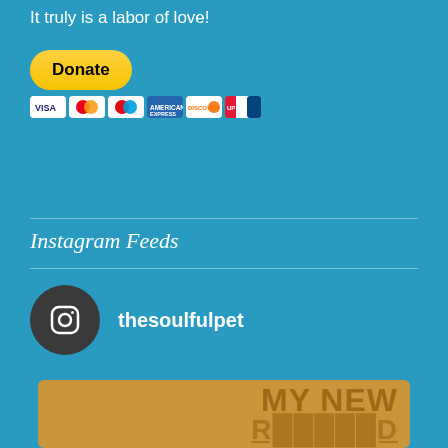It truly is a labor of love!
[Figure (other): PayPal Donate button with payment card icons (Visa, Mastercard, Maestro, Amex, Discover, UnionPay)]
Instagram Feeds
[Figure (other): Instagram profile icon with username 'thesoulfulpet']
[Figure (other): Instagram post thumbnail showing golden/tan background with bold text 'MY NEW' and partial text below]